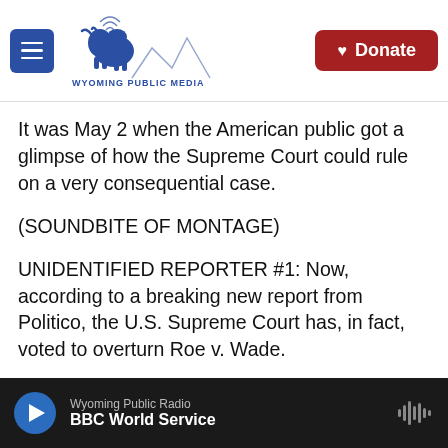Wyoming Public Media | Donate
It was May 2 when the American public got a glimpse of how the Supreme Court could rule on a very consequential case.
(SOUNDBITE OF MONTAGE)
UNIDENTIFIED REPORTER #1: Now, according to a breaking new report from Politico, the U.S. Supreme Court has, in fact, voted to overturn Roe v. Wade.
UNIDENTIFIED REPORTER #2: The Supreme Court has voted to overturn abortion rights.
Wyoming Public Radio | BBC World Service